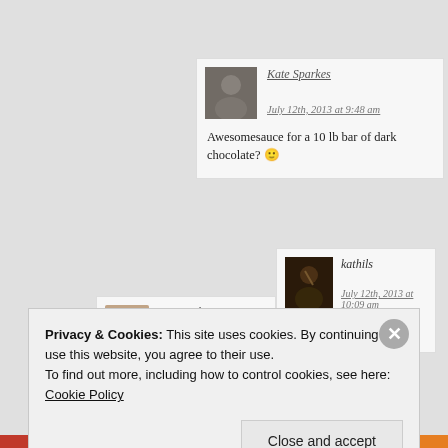Kate Sparkes
July 12th, 2013 at 9:48 am
Awesomesauce for a 10 lb bar of dark chocolate? 🙂
kathils
July 12th, 2013 at 10:09 am
Oh yeah!
P. C. Zick
Privacy & Cookies: This site uses cookies. By continuing to use this website, you agree to their use.
To find out more, including how to control cookies, see here: Cookie Policy
Close and accept